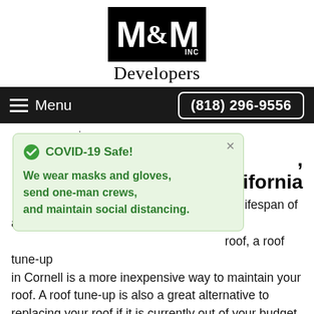[Figure (logo): M&M INC Developers logo — black badge with white M&M text and small INC, with 'Developers' text below in serif font]
Menu  (818) 296-9556
service
COVID-19 Safe!
We wear masks and gloves, send one-man crews, and maintain social distancing.
, California
the lifespan of an roof, a roof tune-up in Cornell is a more inexpensive way to maintain your roof. A roof tune-up is also a great alternative to replacing your roof if it is currently out of your budget. Tune-up repairs are generally minor and consist of taking care of the nail